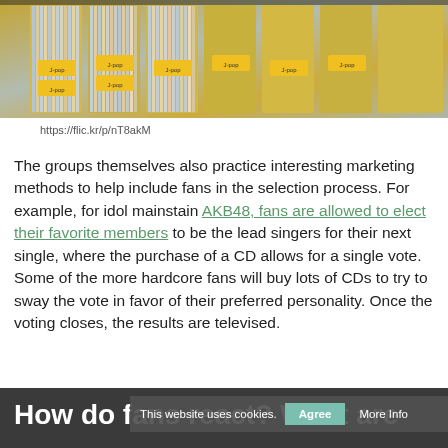[Figure (photo): Photo of J-pop CD racks with yellow labels in a store]
https://flic.kr/p/nT8akM
The groups themselves also practice interesting marketing methods to help include fans in the selection process. For example, for idol mainstain AKB48, fans are allowed to elect their favorite members to be the lead singers for their next single, where the purchase of a CD allows for a single vote. Some of the more hardcore fans will buy lots of CDs to try to sway the vote in favor of their preferred personality. Once the voting closes, the results are televised.
How do fans react? What are "akushukai?"